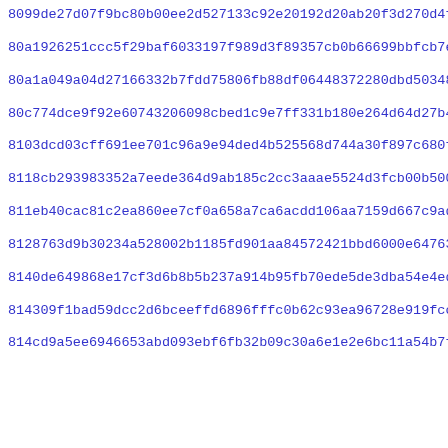8099de27d07f9bc80b00ee2d527133c92e20192d20ab20f3d270d4f170c80
80a1926251ccc5f29baf6033197f989d3f89357cb0b66699bbfcb7e1f037a
80a1a049a04d27166332b7fdd75806fb88df06448372280dbd50348004e482
80c774dce9f92e60743206098cbed1c9e7ff331b180e264d64d27b4d1d941
8103dcd03cff691ee701c96a9e94ded4b525568d744a30f897c680f06b6a7
8118cb293983352a7eede364d9ab185c2cc3aaae5524d3fcb00b50087401c
811eb40cac81c2ea860ee7cf0a658a7ca6acdd106aa7159d667c9ada646e1
8128763d9b30234a528002b1185fd901aa84572421bbd6000e64763317a06
8140de649868e17cf3d6b8b5b237a914b95fb70ede5de3dba54e4ed425c29
814309f1bad59dcc2d6bceeffd6896fffc0b62c93ea96728e919fcc4ada0b
814cd9a5ee6946653abd093ebf6fb32b09c30a6e1e2e6bc11a54b7f3bf77c